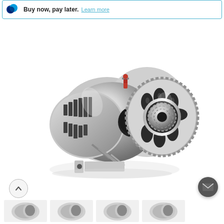Buy now, pay later. Learn more
[Figure (photo): A chrome/polished aluminum automotive alternator shown at an angle, displaying the pulley, cooling vents, brushes, and mounting bracket. The component is highly polished with a mirror-like finish against a white background.]
[Figure (photo): Thumbnail images of the same chrome alternator from different angles at the bottom of the page.]